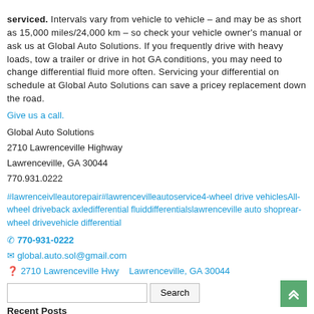serviced. Intervals vary from vehicle to vehicle – and may be as short as 15,000 miles/24,000 km – so check your vehicle owner's manual or ask us at Global Auto Solutions. If you frequently drive with heavy loads, tow a trailer or drive in hot GA conditions, you may need to change differential fluid more often. Servicing your differential on schedule at Global Auto Solutions can save a pricey replacement down the road.
Give us a call.
Global Auto Solutions
2710 Lawrenceville Highway
Lawrenceville, GA 30044
770.931.0222
#lawrenceivlleautorepair#lawrencevilleautoservice4-wheel drive vehiclesAll-wheel driveback axledifferential fluiddifferentialslawrenceville auto shoprear-wheel drivevehicle differential
☎ 770-931-0222
✉ global.auto.sol@gmail.com
📍 2710 Lawrenceville Hwy    Lawrenceville, GA 30044
Recent Posts